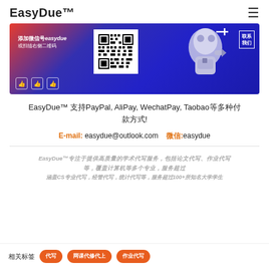EasyDue™
[Figure (illustration): Blue and red promotional banner for EasyDue with Chinese text '添加微信号easydue 或扫描右侧二维码', a QR code, a 3D robot mascot, and a '联系我们' contact box]
EasyDue™ 支持PayPal, AliPay, WechatPay, Taobao等多种付款方式!
E-mail: easydue@outlook.com  微信:easydue
EasyDue™专注于提供高质量的学术代写服务，包括论文代写、作业代写等，覆盖CS等多个专业，服务超过100+所知名大学学生。